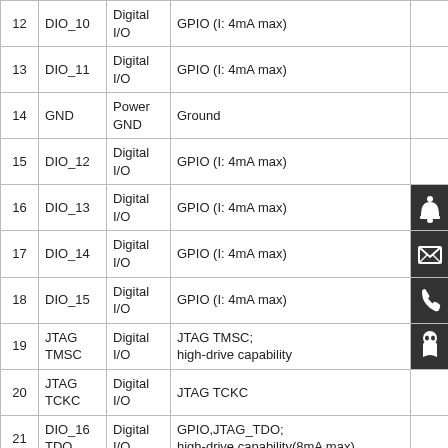| Pin | Name | Type | Description |  |
| --- | --- | --- | --- | --- |
| 12 | DIO_10 | Digital I/O | GPIO (I: 4mA max) |  |
| 13 | DIO_11 | Digital I/O | GPIO (I: 4mA max) |  |
| 14 | GND | Power GND | Ground |  |
| 15 | DIO_12 | Digital I/O | GPIO (I: 4mA max) |  |
| 16 | DIO_13 | Digital I/O | GPIO (I: 4mA max) | bell icon |
| 17 | DIO_14 | Digital I/O | GPIO (I: 4mA max) | envelope icon |
| 18 | DIO_15 | Digital I/O | GPIO (I: 4mA max) | phone icon |
| 19 | JTAG TMSC | Digital I/O | JTAG TMSC; high-drive capability | person icon |
| 20 | JTAG TCKC | Digital I/O | JTAG TCKC |  |
| 21 | DIO_16 TDO | Digital I/O | GPIO,JTAG_TDO; high-drive capability(8mA max). |  |